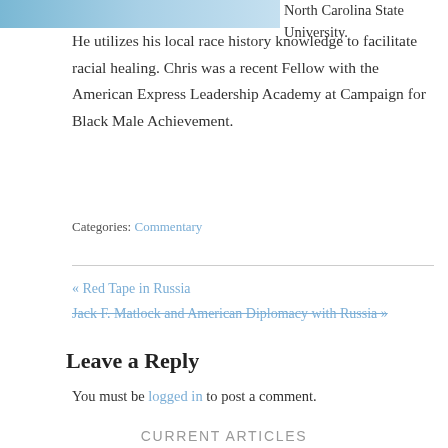[Figure (photo): Partial photo strip at top of page showing a person, cropped]
North Carolina State University. He utilizes his local race history knowledge to facilitate racial healing. Chris was a recent Fellow with the American Express Leadership Academy at Campaign for Black Male Achievement.
Categories: Commentary
« Red Tape in Russia
Jack F. Matlock and American Diplomacy with Russia »
Leave a Reply
You must be logged in to post a comment.
CURRENT ARTICLES